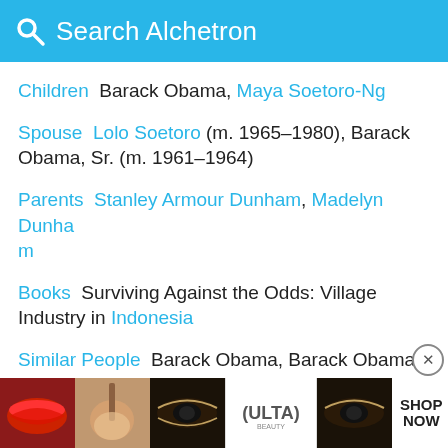Search Alchetron
Children  Barack Obama, Maya Soetoro-Ng
Spouse  Lolo Soetoro (m. 1965–1980), Barack Obama, Sr. (m. 1961–1964)
Parents  Stanley Armour Dunham, Madelyn Dunham
Books  Surviving Against the Odds: Village Industry in Indonesia
Similar People  Barack Obama, Barack Obama - Sr, Maya Soetoro-Ng, Lolo Soetoro, Stanley Armour Dunham
Died
[Figure (screenshot): ULTA beauty advertisement banner with makeup images, SHOP NOW text, and id-19 label]